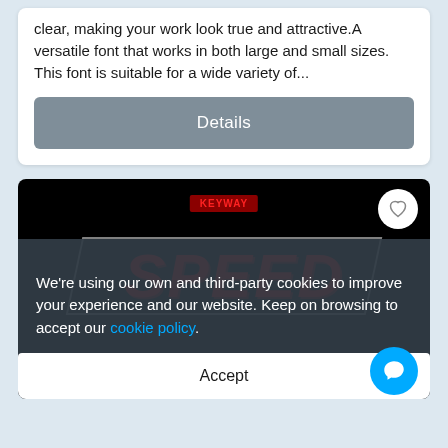clear, making your work look true and attractive. A versatile font that works in both large and small sizes. This font is suitable for a wide variety of...
Details
[Figure (screenshot): Font preview card on dark background showing 'SPEED' in large bold italic red text inside a parallelogram border outline, with a KEYWAY badge and a heart/favorite button. Below the SPEED text is 'EXTREME SPEED FONT' in grey uppercase letters.]
We're using our own and third-party cookies to improve your experience and our website. Keep on browsing to accept our cookie policy.
Accept